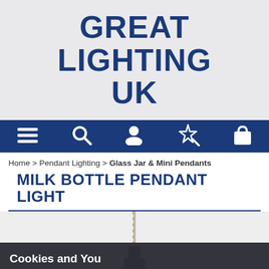GREAT LIGHTING UK
[Figure (screenshot): Navigation bar with icons: hamburger menu, search, user/account, magic wand/wishlist, shopping bag]
Home > Pendant Lighting > Glass Jar & Mini Pendants
MILK BOTTLE PENDANT LIGHT
[Figure (photo): Partial photo of a milk bottle pendant light — dark glass bottle with braided cord, on a light grey background]
Cookies and You
We use cookies on this website. You are free to manage these via your browser settings at any time. For more about how we use cookies, please see our Privacy Policy.